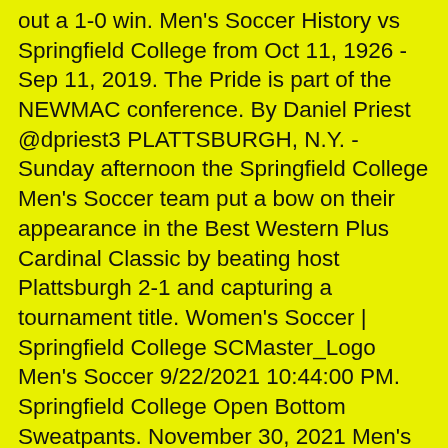out a 1-0 win. Men's Soccer History vs Springfield College from Oct 11, 1926 - Sep 11, 2019. The Pride is part of the NEWMAC conference. By Daniel Priest @dpriest3 PLATTSBURGH, N.Y. - Sunday afternoon the Springfield College Men's Soccer team put a bow on their appearance in the Best Western Plus Cardinal Classic by beating host Plattsburgh 2-1 and capturing a tournament title. Women's Soccer | Springfield College SCMaster_Logo Men's Soccer 9/22/2021 10:44:00 PM. Springfield College Open Bottom Sweatpants. November 30, 2021 Men's Soccer. It is usual to see a few substitutions being made from time to time, but the Springfield College men's soccer team did the unusual. The Official Athletic Website For Springfield College. At the conclusion of an evening practice in the warm September sun, Springfield College women's soccer coach John Gibson walks around his team's post-practice stretch circle giving each member of the team a high-five, something he couldn't do a year ago. Women's